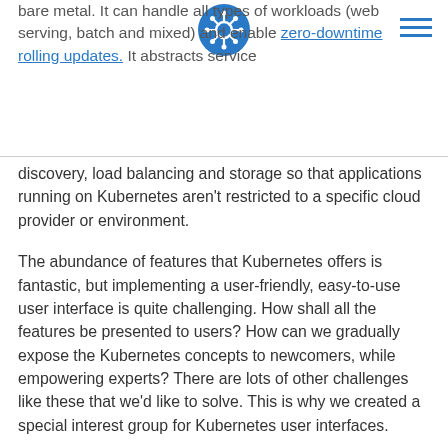bare metal. It can handle all types of workloads (web serving, batch and mixed) and enable zero-downtime rolling updates. It abstracts service discovery, load balancing and storage so that applications running on Kubernetes aren't restricted to a specific cloud provider or environment.
The abundance of features that Kubernetes offers is fantastic, but implementing a user-friendly, easy-to-use user interface is quite challenging. How shall all the features be presented to users? How can we gradually expose the Kubernetes concepts to newcomers, while empowering experts? There are lots of other challenges like these that we'd like to solve. This is why we created a special interest group for Kubernetes user interfaces.
Meet SIG-UI: the place for building awesome